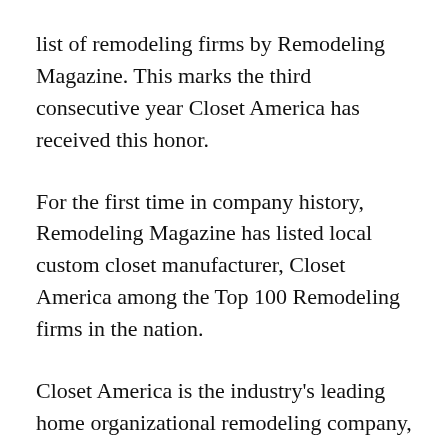list of remodeling firms by Remodeling Magazine. This marks the third consecutive year Closet America has received this honor.
For the first time in company history, Remodeling Magazine has listed local custom closet manufacturer, Closet America among the Top 100 Remodeling firms in the nation.
Closet America is the industry's leading home organizational remodeling company, serving the Washington DC, Northern VA & MD Metropolitan areas. This year the company ranked No. 90 on the 2014 Remodeling Magazine's Top 550 Replacement Contractors. Closet America is the highest ranked installer and manufacturer of strictly home